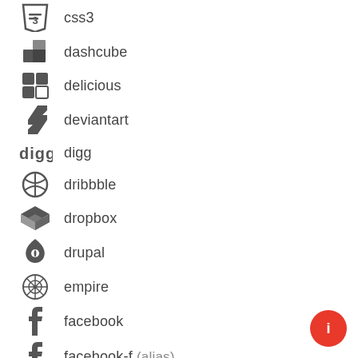css3
dashcube
delicious
deviantart
digg
dribbble
dropbox
drupal
empire
facebook
facebook-f (alias)
facebook-official
facebook-square
flickr